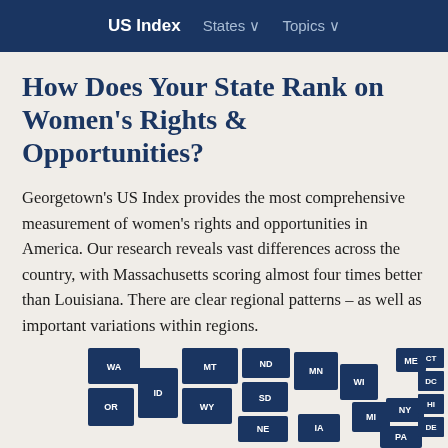US Index   States ▾   Topics ▾
How Does Your State Rank on Women's Rights & Opportunities?
Georgetown's US Index provides the most comprehensive measurement of women's rights and opportunities in America. Our research reveals vast differences across the country, with Massachusetts scoring almost four times better than Louisiana. There are clear regional patterns – as well as important variations within regions.
[Figure (map): Partial US map showing states labeled with abbreviations in dark navy blue, including WA, OR, ID, MT, WY, ND, SD, NE, MN, IA, WI, MI, ME, NY, PA, DE, CT, DC, HI and others.]